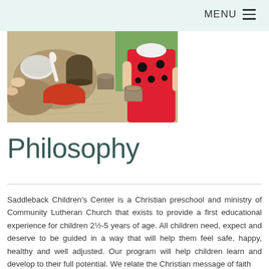MENU
[Figure (photo): Overhead view of children playing with sand, mud, kitchen utensils, bowls, and containers outdoors. A child in a red ladybug-patterned top is visible on the right.]
Philosophy
Saddleback Children's Center is a Christian preschool and ministry of Community Lutheran Church that exists to provide a first educational experience for children 2½-5 years of age. All children need, expect and deserve to be guided in a way that will help them feel safe, happy, healthy and well adjusted. Our program will help children learn and develop to their full potential. We relate the Christian message of faith